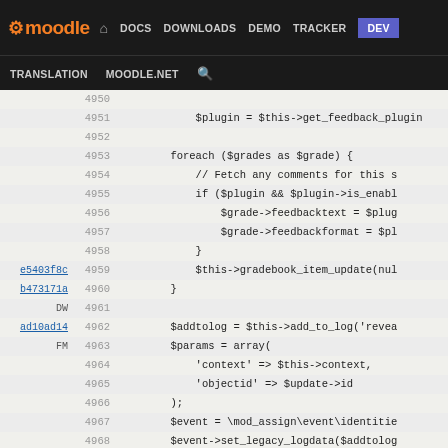moodle DOCS DOWNLOADS DEMO TRACKER DEV TRANSLATION MOODLE.NET
[Figure (screenshot): Moodle developer documentation site navigation bar with dark background showing DOCS, DOWNLOADS, DEMO, TRACKER, DEV links and TRANSLATION, MOODLE.NET secondary links]
Code blame view showing PHP source lines 4950-4976 with commit hashes e5403f8c, b473171a, ad10ad14, 05a6445a and authors DW, FM
4950 (blank)
4951     $plugin = $this->get_feedback_plugin
4952 (blank)
4953     foreach ($grades as $grade) {
4954         // Fetch any comments for this s
4955         if ($plugin && $plugin->is_enabl
4956             $grade->feedbacktext = $plug
4957             $grade->feedbackformat = $pl
4958         }
4959         $this->gradebook_item_update(nul
4960     }
4961 (blank)
4962     $addtolog = $this->add_to_log('revea
4963     $params = array(
4964         'context' => $this->context,
4965         'objectid' => $update->id
4966 );
4967     $event = \mod_assign\event\identitie
4968     $event->set_legacy_logdata($addtolog
4969     $event->trigger();
4970 }
4971 (blank)
4972 /**
4973  * Reveal student identities to markers
4974  *
4975  * @return void
4976 */